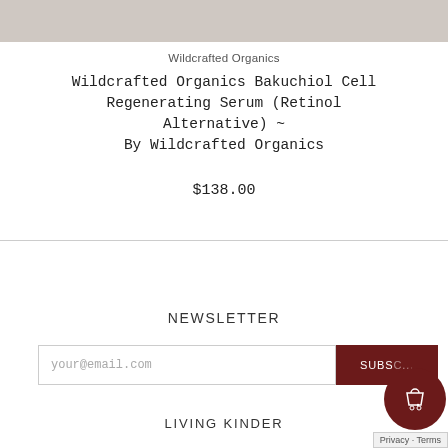[Figure (photo): Product image area - partial view of Wildcrafted Organics Bakuchiol serum product at top of page]
Wildcrafted Organics
Wildcrafted Organics Bakuchiol Cell Regenerating Serum (Retinol Alternative) ~ By Wildcrafted Organics
$138.00
NEWSLETTER
your@email.com
SUBS...
LIVING KINDER